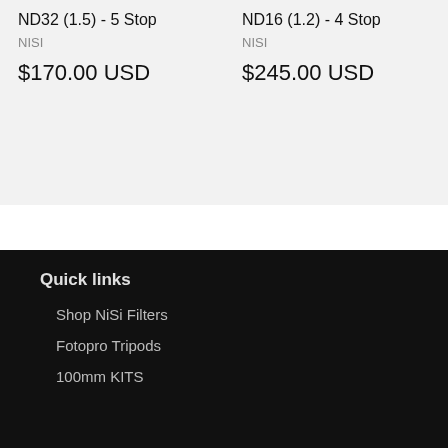ND32 (1.5) - 5 Stop
NISI
$170.00 USD
ND16 (1.2) - 4 Stop
NISI
$245.00 USD
Quick links
Shop NiSi Filters
Fotopro Tripods
100mm KITS
Info
Contact